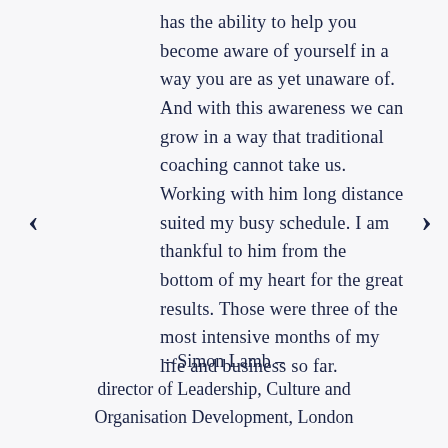has the ability to help you become aware of yourself in a way you are as yet unaware of. And with this awareness we can grow in a way that traditional coaching cannot take us. Working with him long distance suited my busy schedule. I am thankful to him from the bottom of my heart for the great results. Those were three of the most intensive months of my life and business so far.
– Simon Lamb –
director of Leadership, Culture and Organisation Development, London